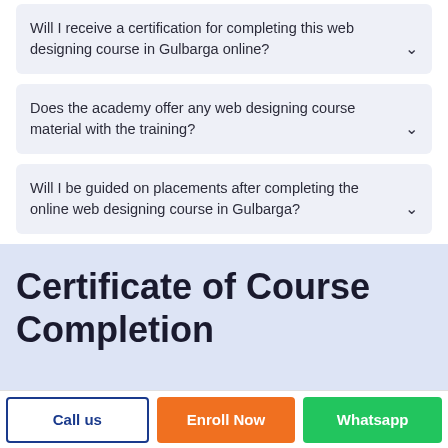Will I receive a certification for completing this web designing course in Gulbarga online?
Does the academy offer any web designing course material with the training?
Will I be guided on placements after completing the online web designing course in Gulbarga?
Certificate of Course Completion
Call us
Enroll Now
Whatsapp